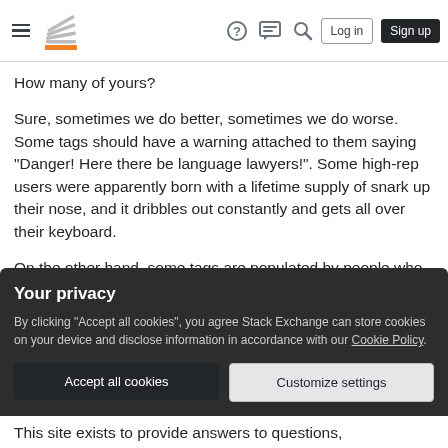Stack Exchange navigation bar with hamburger menu, logo, help, chat, search, Log in, Sign up
How many of yours?
Sure, sometimes we do better, sometimes we do worse. Some tags should have a warning attached to them saying "Danger! Here there be language lawyers!". Some high-rep users were apparently born with a lifetime supply of snark up their nose, and it dribbles out constantly and gets all over their keyboard.
On the other hand, some tags are populated by people who are genuinely enthusiastic about their
Your privacy
By clicking "Accept all cookies", you agree Stack Exchange can store cookies on your device and disclose information in accordance with our Cookie Policy.
Accept all cookies
Customize settings
This site exists to provide answers to questions,